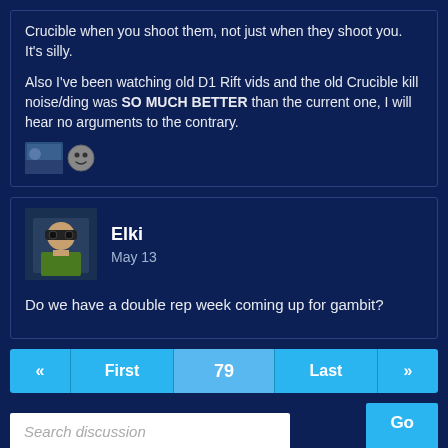Crucible when you shoot them, not just when they shoot you. It's silly.

Also I've been watching old D1 Rift vids and the old Crucible kill noise/ding was SO MUCH BETTER than the current one, I will hear no arguments to the contrary.
Elki
May 13
Do we have a double rep week coming up for gambit?
« First 79 Last »
Search discussion
Go
Sign In or Register to comment.